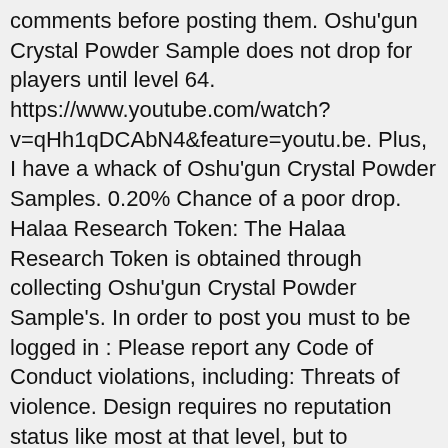comments before posting them. Oshu'gun Crystal Powder Sample does not drop for players until level 64. https://www.youtube.com/watch?v=qHh1qDCAbN4&feature=youtu.be. Plus, I have a whack of Oshu'gun Crystal Powder Samples. 0.20% Chance of a poor drop. Halaa Research Token: The Halaa Research Token is obtained through collecting Oshu'gun Crystal Powder Sample's. In order to post you must to be logged in : Please report any Code of Conduct violations, including: Threats of violence. Design requires no reputation status like most at that level, but to purchase them you'll need four (4) Halaa Research Tokens, which you can get by trading in 80 Oshu'gun Crystal Powder (20 *4) when your side (alliance/horde) control Halaa. Oshu'gun Crystal Powder Sample does not drop for players until level 64. Discussion in 'Archives' started by Brostorm, Oct 10, 2010. There will be a bunch of